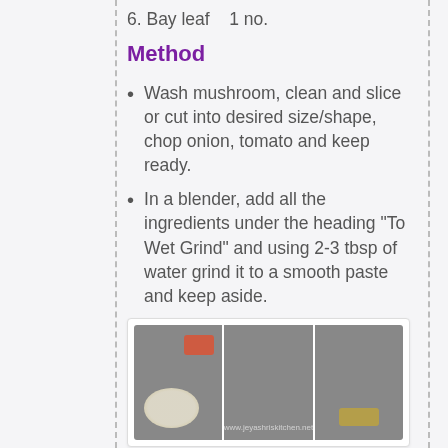6. Bay leaf   1 no.
Method
Wash mushroom, clean and slice or cut into desired size/shape, chop onion, tomato and keep ready.
In a blender, add all the ingredients under the heading "To Wet Grind" and using 2-3 tbsp of water grind it to a smooth paste and keep aside.
[Figure (photo): Three cooking process photos: spices and ingredients on a plate, blended smooth paste in a blender jar, and a kadai/pan with tempering ingredients on stove]
Then heat oil in a kadai, when oil is hot add the tempering ingredients one by one and fry well.
And then add sliced onion, curry